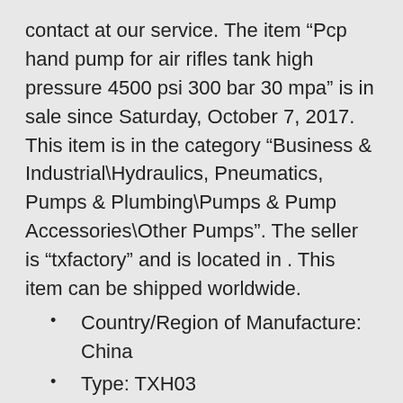contact at our service. The item “Pcp hand pump for air rifles tank high pressure 4500 psi 300 bar 30 mpa” is in sale since Saturday, October 7, 2017. This item is in the category “Business & Industrial\Hydraulics, Pneumatics, Pumps & Plumbing\Pumps & Pump Accessories\Other Pumps”. The seller is “txfactory” and is located in . This item can be shipped worldwide.
Country/Region of Manufacture: China
Type: TXH03
MPN: 659128
Brand: TUXING
View on eBay
Posted in  hand